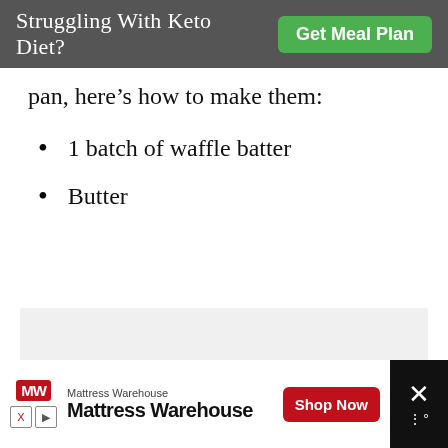Struggling With Keto Diet?  Get Meal Plan
pan, here's how to make them:
1 batch of waffle batter
Butter
[Figure (other): Gray placeholder box for an embedded image or content area]
Mattress Warehouse  Mattress Warehouse  Shop Now